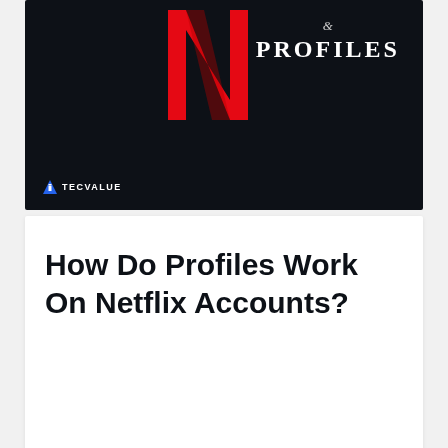[Figure (illustration): Dark navy banner with Netflix N logo on the left, ampersand symbol and PROFILES text on the right, and TECVALUE branding at the bottom left]
How Do Profiles Work On Netflix Accounts?